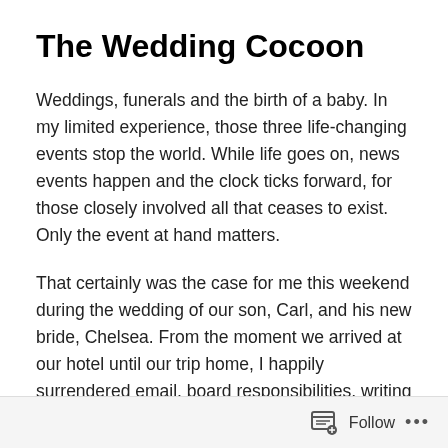The Wedding Cocoon
Weddings, funerals and the birth of a baby. In my limited experience, those three life-changing events stop the world. While life goes on, news events happen and the clock ticks forward, for those closely involved all that ceases to exist. Only the event at hand matters.
That certainly was the case for me this weekend during the wedding of our son, Carl, and his new bride, Chelsea. From the moment we arrived at our hotel until our trip home, I happily surrendered email, board responsibilities, writing assignments, coffee dates and my to-do list. All that mattered was on the detailed schedule developed by Carl
Follow ...